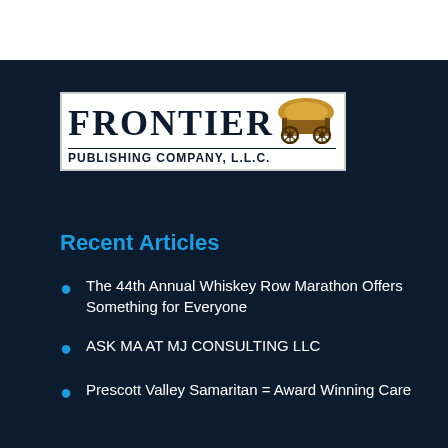[Figure (logo): Frontier Publishing Company, LLC logo — bold serif FRONTIER text with a covered wagon illustration, on a white background with border]
Recent Articles
The 44th Annual Whiskey Row Marathon Offers Something for Everyone
ASK MA AT MJ CONSULTING LLC
Prescott Valley Samaritan = Award Winning Care